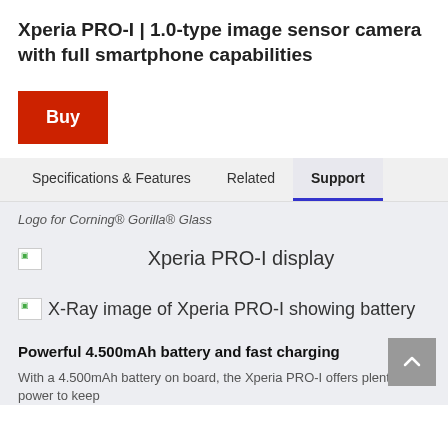Xperia PRO-I | 1.0-type image sensor camera with full smartphone capabilities
Buy
Specifications & Features   Related   Support
Logo for Corning® Gorilla® Glass
[Figure (photo): Xperia PRO-I display image (broken/loading)]
Xperia PRO-I display
[Figure (photo): X-Ray image of Xperia PRO-I showing battery (broken/loading)]
Powerful 4.500mAh battery and fast charging
With a 4.500mAh battery on board, the Xperia PRO-I offers plenty of power to keep